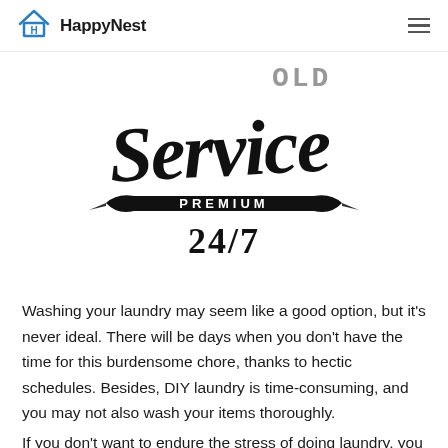HappyNest
[Figure (illustration): A decorative badge/stamp style illustration with cursive script reading 'Service' in large text, with 'OLD' partially visible at top, 'PREMIUM' on a banner ribbon, and '24/7' below in bold serif numerals. All in black on white.]
Washing your laundry may seem like a good option, but it's never ideal. There will be days when you don't have the time for this burdensome chore, thanks to hectic schedules. Besides, DIY laundry is time-consuming, and you may not also wash your items thoroughly.
If you don't want to endure the stress of doing laundry, you may